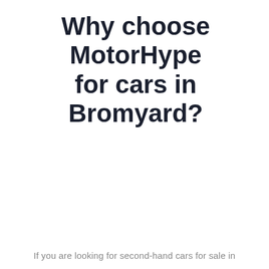Why choose MotorHype for cars in Bromyard?
If you are looking for second-hand cars for sale in